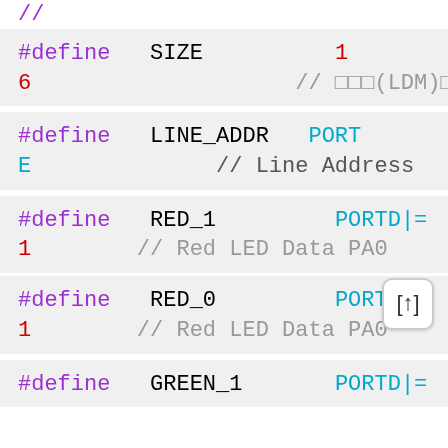// (partial line at top)
#define SIZE 1
6 // □□□(LDM)□□□
#define LINE_ADDR PORT
E // Line Address
#define RED_1 PORTD|=
1 // Red LED Data PA0
#define RED_0 PORTD&=
1 // Red LED Data PA0
#define GREEN_1 PORTD|=